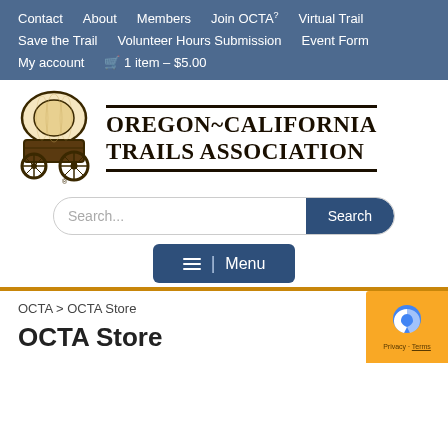Contact  About  Members  Join OCTA?  Virtual Trail  Save the Trail  Volunteer Hours Submission  Event Form  My account  🛒 1 item – $5.00
[Figure (logo): Oregon-California Trails Association logo with covered wagon icon and text OREGON~CALIFORNIA TRAILS ASSOCIATION]
Search...
Menu
OCTA > OCTA Store
OCTA Store